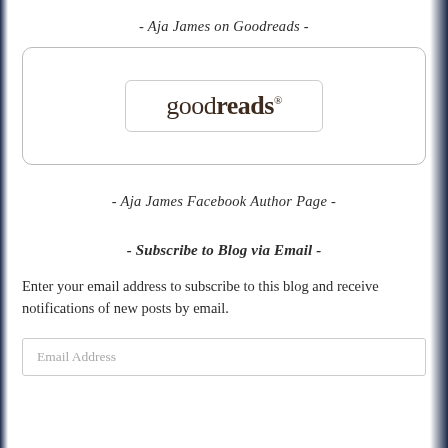- Aja James on Goodreads -
[Figure (logo): Goodreads logo inside a rounded rectangle border, nested within a larger rounded rectangle box]
- Aja James Facebook Author Page -
- Subscribe to Blog via Email -
Enter your email address to subscribe to this blog and receive notifications of new posts by email.
Email Address